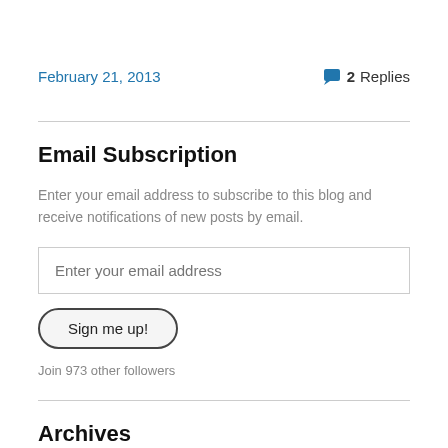February 21, 2013
2 Replies
Email Subscription
Enter your email address to subscribe to this blog and receive notifications of new posts by email.
Enter your email address
Sign me up!
Join 973 other followers
Archives